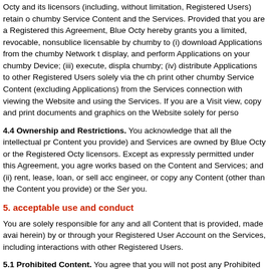Octy and its licensors (including, without limitation, Registered Users) retain o... chumby Service Content and the Services. Provided that you are a Registered... this Agreement, Blue Octy hereby grants you a limited, revocable, nonsublice... licensable by chumby to (i) download Applications from the chumby Network t... display, and perform Applications on your chumby Device; (iii) execute, displa... chumby; (iv) distribute Applications to other Registered Users solely via the ch... print other chumby Service Content (excluding Applications) from the Services... connection with viewing the Website and using the Services. If you are a Visit... view, copy and print documents and graphics on the Website solely for perso...
4.4 Ownership and Restrictions. You acknowledge that all the intellectual pr... Content you provide) and Services are owned by Blue Octy or the Registered... Octy licensors. Except as expressly permitted under this Agreement, you agre... works based on the Content and Services; and (ii) rent, lease, loan, or sell acc... engineer, or copy any Content (other than the Content you provide) or the Ser... you.
5. acceptable use and conduct
You are solely responsible for any and all Content that is provided, made avai... herein) by or through your Registered User Account on the Services, including... interactions with other Registered Users.
5.1 Prohibited Content. You agree that you will not post any Prohibited Conte... (i) is offensive or promotes racism, bigotry, hatred or physical harm of any...